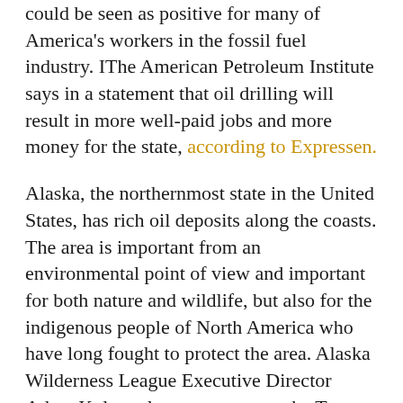could be seen as positive for many of America's workers in the fossil fuel industry. IThe American Petroleum Institute says in a statement that oil drilling will result in more well-paid jobs and more money for the state, according to Expressen.
Alaska, the northernmost state in the United States, has rich oil deposits along the coasts. The area is important from an environmental point of view and important for both nature and wildlife, but also for the indigenous people of North America who have long fought to protect the area. Alaska Wilderness League Executive Director Adam Kolton also comments on the Trump administration's last attempt to influence US climate policy before Biden's takeover, writes The New York Times.
– It is disappointing that this administration has maintained such a low level of consideration for America's public lands, for wildlife, and for indigenous